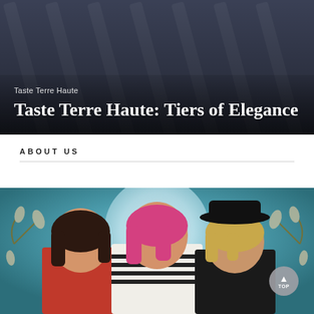[Figure (photo): Hero image with dark background showing what appears to be decorative elements, with text overlay showing category label 'Taste Terre Haute' and title 'Taste Terre Haute: Tiers of Elegance']
Taste Terre Haute
Taste Terre Haute: Tiers of Elegance
ABOUT US
[Figure (photo): Photo of three women standing together in front of a decorative painted background with floral and winter motifs. Left woman has dark hair and wears red. Center woman has pink hair and wears a white and black striped top. Right woman wears a black hat and black outfit. A circular 'TOP' button with an upward arrow appears in the bottom right corner.]